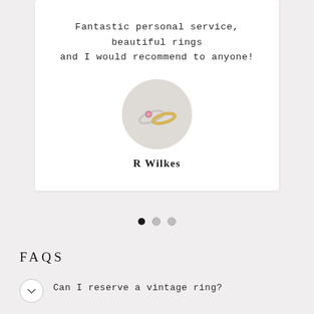Fantastic personal service, beautiful rings and I would recommend to anyone!
[Figure (photo): Circular avatar image showing two rings - one with a pink gemstone and one gold band - on a light grey background]
R Wilkes
[Figure (other): Three pagination dots: first dot filled black, second and third dots light grey]
FAQS
Can I reserve a vintage ring?
I've seen a vintage ring I like, can it be